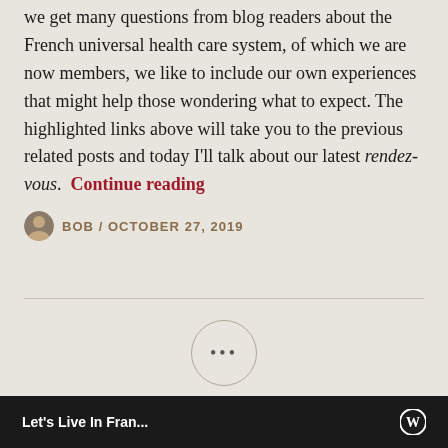we get many questions from blog readers about the French universal health care system, of which we are now members, we like to include our own experiences that might help those wondering what to expect. The highlighted links above will take you to the previous related posts and today I'll talk about our latest rendez-vous.  Continue reading
BOB / OCTOBER 27, 2019
Let's Live In Fran...